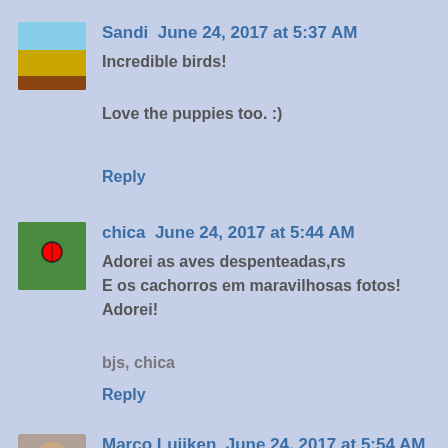Sandi  June 24, 2017 at 5:37 AM
Incredible birds!

Love the puppies too. :)
Reply
chica  June 24, 2017 at 5:44 AM
Adorei as aves despenteadas,rs
E os cachorros em maravilhosas fotos!
Adorei!

bjs, chica
Reply
Marco Luijken  June 24, 2017 at 5:54 AM